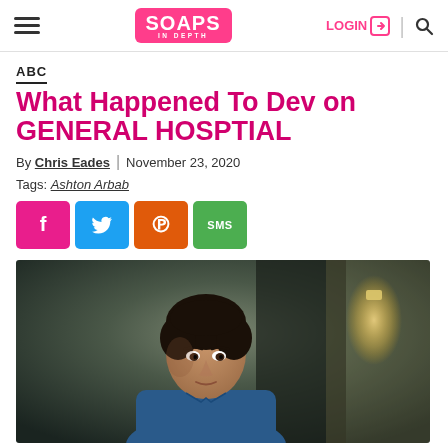Soaps In Depth — LOGIN | Search
ABC
What Happened To Dev on GENERAL HOSPTIAL
By Chris Eades | November 23, 2020
Tags: Ashton Arbab
[Figure (infographic): Social share buttons: Facebook (pink), Twitter (blue), Pinterest (orange), SMS (green)]
[Figure (photo): Young man with dark hair in a blue shirt, looking slightly to the left, in an indoor setting with blurred background including a lit wall sconce on the right]